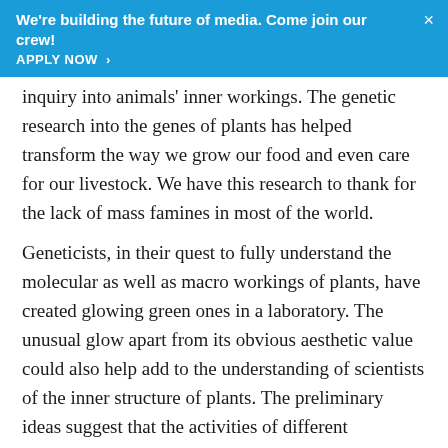We're building the future of media. Come join our crew! APPLY NOW ›
inquiry into animals' inner workings. The genetic research into the genes of plants has helped transform the way we grow our food and even care for our livestock. We have this research to thank for the lack of mass famines in most of the world.
Geneticists, in their quest to fully understand the molecular as well as macro workings of plants, have created glowing green ones in a laboratory. The unusual glow apart from its obvious aesthetic value could also help add to the understanding of scientists of the inner structure of plants. The preliminary ideas suggest that the activities of different hormones inside plants over their lifetime and across different tissues could be visualized non-invasively using this technique. The internal changes that a plant goes through after being exposed to certain stimuli could also be easily studied